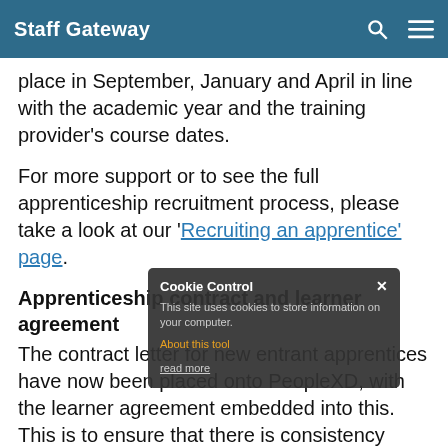Staff Gateway
place in September, January and April in line with the academic year and the training provider's course dates.
For more support or to see the full apprenticeship recruitment process, please take a look at our 'Recruiting an apprentice' page.
Apprenticeship contract and learner agreement
The contract letter for new entrant apprentices have now been placed onto PeopleXD, with the learner agreement embedded into this. This is to ensure that there is consistency across all versions of this document which departments may be using, and it should streamline the process.